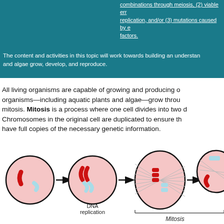combinations through meiosis, (2) viable errors in replication, and/or (3) mutations caused by environmental factors.
The content and activities in this topic will work towards building an understanding of how aquatic plants and algae grow, develop, and reproduce.
All living organisms are capable of growing and producing offspring. Most organisms—including aquatic plants and algae—grow through a process called mitosis. Mitosis is a process where one cell divides into two daughter cells. Chromosomes in the original cell are duplicated to ensure that the daughter cells have full copies of the necessary genetic information.
[Figure (illustration): Diagram showing stages of mitosis: a cell with red and light blue chromosomes, followed by DNA replication (duplicated chromosomes), then cell division stages with spindle fibers, and finally separated daughter cells. Labels: DNA replication, Mitosis.]